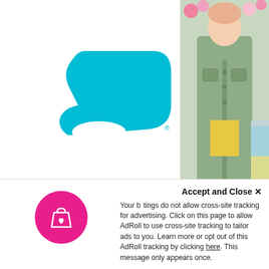[Figure (logo): Route green package protection logo — two teal/turquoise abstract shapes resembling a shield and a circle, with a small registered trademark symbol]
‹
Green Package Protection
From $ 0.98
[Figure (photo): Photo of a woman wearing a light sage green long denim jacket over a yellow and pink tie-dye top, with black pants, shown in a shop setting. A second cropped image shows a colorful tie-dye pullover top.]
Keep Things Simple Long Sleeve Tie Dye V Neck Pullover Top in Turquoise, Mustard, and
$ 10.00
Accept and Close ✕
Your browser settings do not allow cross-site tracking for advertising. Click on this page to allow AdRoll to use cross-site tracking to tailor ads to you. Learn more or opt out of this AdRoll tracking by clicking here. This message only appears once.